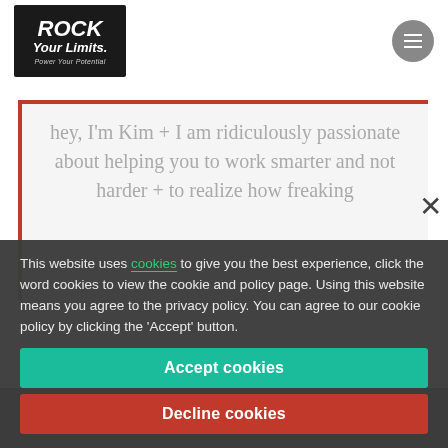Rock Your Limits — Power Your Potential
hey, I'm Kim + I am ridiculously passionate about helping you to work smarter and not harder + to realize how freaking
This website uses cookies to give you the best experience, click the word cookies to view the cookie and policy page. Using this website means you agree to the privacy policy. You can agree to our cookie policy by clicking the 'Accept' button.
Accept cookies
Decline cookies